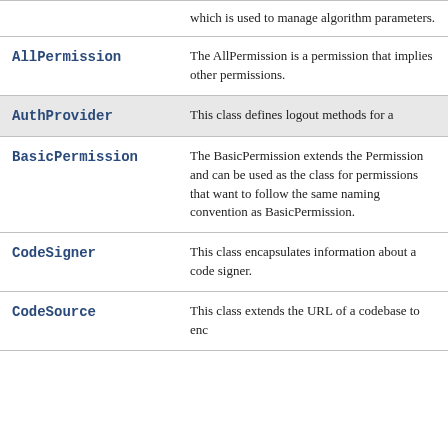| Class | Description |
| --- | --- |
|  | which is used to manage algorithm parameters. |
| AllPermission | The AllPermission is a permission that implies other permissions. |
| AuthProvider | This class defines login and logout methods for a... |
| BasicPermission | The BasicPermission extends the Permission and can be used as the class for permissions that want to follow the same naming convention as BasicPermission. |
| CodeSigner | This class encapsulates information about a code signer. |
| CodeSource | This class extends the URL of a codebase to enc... |